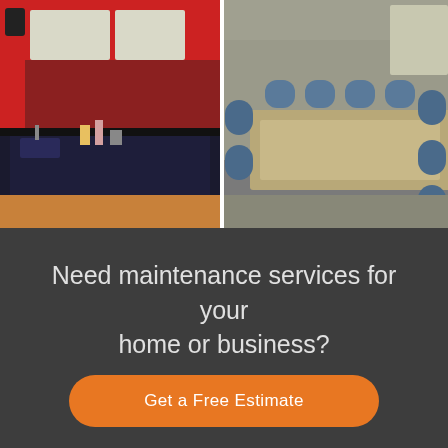[Figure (photo): Two office/kitchen photos side by side: left shows a kitchen break room with red walls, black countertops, and wooden cabinets; right shows a conference room with chairs around a table.]
Need maintenance services for your home or business?
Get a Free Estimate
OUR  SPECIALTIES